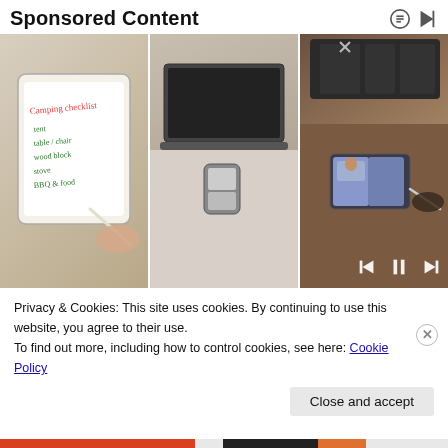Sponsored Content
[Figure (photo): Three-panel image strip: left panel shows a hand writing on a tablet with a stylus showing a camping checklist; middle panel shows a laptop and small folding phone device on a table; right panel shows a person writing on a foldable phone/tablet device on a desk with desk organizer, with media playback controls (skip back, pause, skip forward) overlaid in the bottom right.]
Privacy & Cookies: This site uses cookies. By continuing to use this website, you agree to their use.
To find out more, including how to control cookies, see here: Cookie Policy
Close and accept